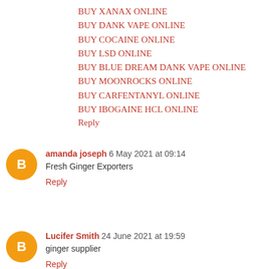BUY XANAX ONLINE
BUY DANK VAPE ONLINE
BUY COCAINE ONLINE
BUY LSD ONLINE
BUY BLUE DREAM DANK VAPE ONLINE
BUY MOONROCKS ONLINE
BUY CARFENTANYL ONLINE
BUY IBOGAINE HCL ONLINE
Reply
amanda joseph 6 May 2021 at 09:14
Fresh Ginger Exporters
Reply
Lucifer Smith 24 June 2021 at 19:59
ginger supplier
Reply